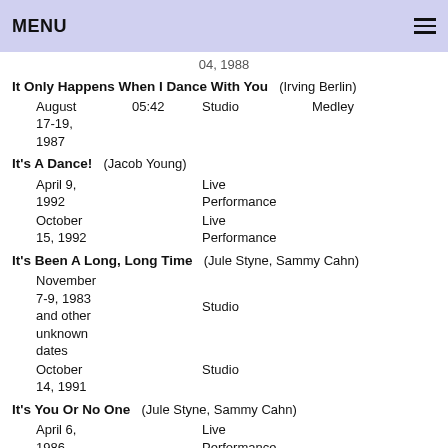MENU
04, 1988
It Only Happens When I Dance With You (Irving Berlin)
August 17-19, 1987  05:42  Studio  Medley
It's A Dance! (Jacob Young)
April 9, 1992  Live Performance
October 15, 1992  Live Performance
It's Been A Long, Long Time (Jule Styne, Sammy Cahn)
November 7-9, 1983 and other unknown dates  Studio
October 14, 1991  Studio
It's You Or No One (Jule Styne, Sammy Cahn)
April 6, 1986  Live Performance
I've Been Taught By Experts (Peter Allen, Hal Clayton Hackady)
February